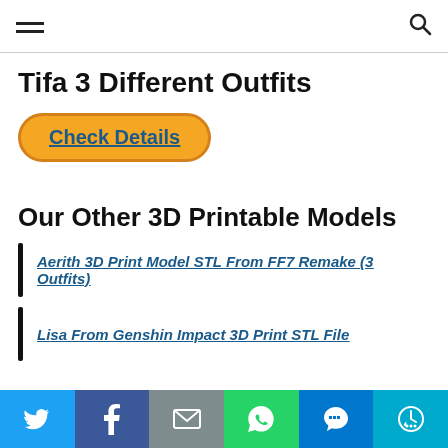≡  🔍
Tifa 3 Different Outfits
Check Details
Our Other 3D Printable Models
Aerith 3D Print Model STL From FF7 Remake (3 Outfits)
Lisa From Genshin Impact 3D Print STL File
Twitter  Facebook  Email  WhatsApp  SMS  More